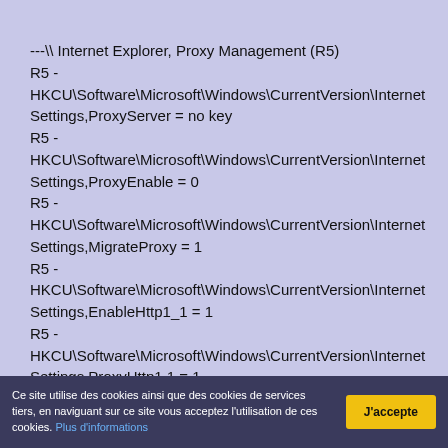---\\ Internet Explorer, Proxy Management (R5)
R5 - HKCU\Software\Microsoft\Windows\CurrentVersion\Internet Settings,ProxyServer = no key
R5 - HKCU\Software\Microsoft\Windows\CurrentVersion\Internet Settings,ProxyEnable = 0
R5 - HKCU\Software\Microsoft\Windows\CurrentVersion\Internet Settings,MigrateProxy = 1
R5 - HKCU\Software\Microsoft\Windows\CurrentVersion\Internet Settings,EnableHttp1_1 = 1
R5 - HKCU\Software\Microsoft\Windows\CurrentVersion\Internet Settings,ProxyHttp1.1 = 1
R5 -
Ce site utilise des cookies ainsi que des cookies de services tiers, en naviguant sur ce site vous acceptez l'utilisation de ces cookies. Plus d'informations